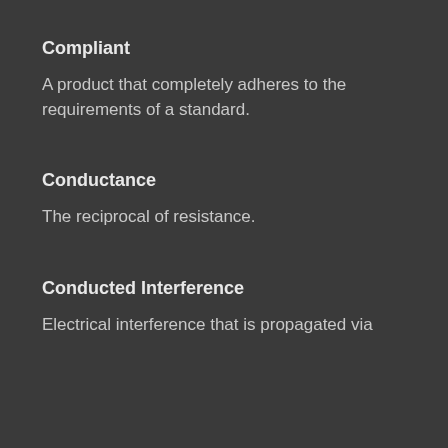Compliant
A product that completely adheres to the requirements of a standard.
Conductance
The reciprocal of resistance.
Conducted Interference
Electrical interference that is propagated via